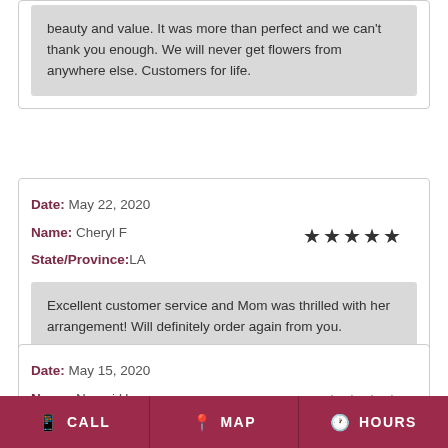beauty and value. It was more than perfect and we can't thank you enough. We will never get flowers from anywhere else. Customers for life.
Date: May 22, 2020
Name: Cheryl F
State/Province: LA
Excellent customer service and Mom was thrilled with her arrangement! Will definitely order again from you.
Date: May 15, 2020
Name: Naomi H
CALL   MAP   HOURS